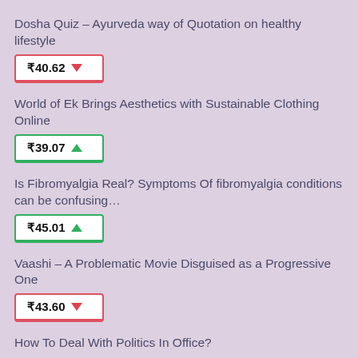Dosha Quiz – Ayurveda way of Quotation on healthy lifestyle
₹40.62 ▼
World of Ek Brings Aesthetics with Sustainable Clothing Online
₹39.07 ▲
Is Fibromyalgia Real? Symptoms Of fibromyalgia conditions can be confusing…
₹45.01 ▲
Vaashi – A Problematic Movie Disguised as a Progressive One
₹43.60 ▼
How To Deal With Politics In Office?